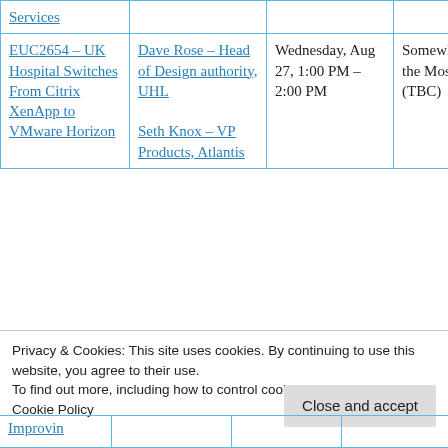| Session | Speaker | Date/Time | Location |
| --- | --- | --- | --- |
| Services |  |  |  |
| EUC2654 – UK Hospital Switches From Citrix XenApp to VMware Horizon... | Dave Rose – Head of Design authority, UHL
Seth Knox – VP Products, Atlantis | Wednesday, Aug 27, 1:00 PM – 2:00 PM | Somewhere in the Moscone (TBC) |
| Improvin... |  |  |  |
Privacy & Cookies: This site uses cookies. By continuing to use this website, you agree to their use.
To find out more, including how to control cookies, see here: Cookie Policy